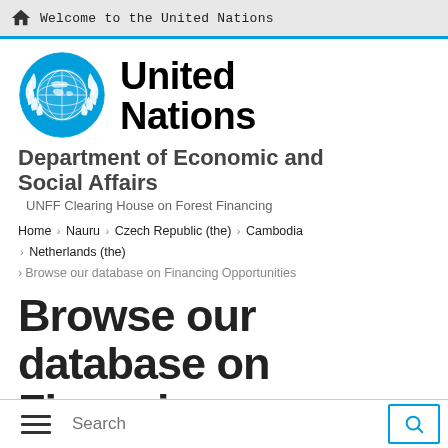Welcome to the United Nations
[Figure (logo): United Nations emblem logo in blue]
United Nations
Department of Economic and Social Affairs
UNFF Clearing House on Forest Financing
Home » Nauru » Czech Republic (the) » Cambodia » Netherlands (the) » Browse our database on Financing Opportunities
Browse our database on Financing Opportunities